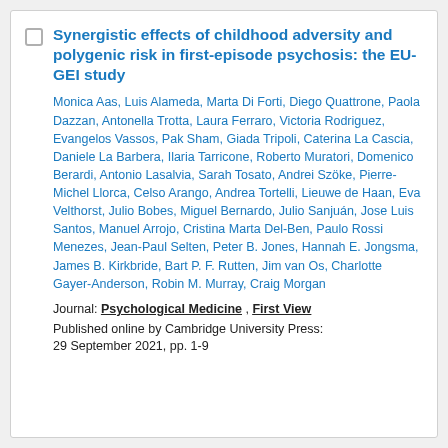Synergistic effects of childhood adversity and polygenic risk in first-episode psychosis: the EU-GEI study
Monica Aas, Luis Alameda, Marta Di Forti, Diego Quattrone, Paola Dazzan, Antonella Trotta, Laura Ferraro, Victoria Rodriguez, Evangelos Vassos, Pak Sham, Giada Tripoli, Caterina La Cascia, Daniele La Barbera, Ilaria Tarricone, Roberto Muratori, Domenico Berardi, Antonio Lasalvia, Sarah Tosato, Andrei Szöke, Pierre-Michel Llorca, Celso Arango, Andrea Tortelli, Lieuwe de Haan, Eva Velthorst, Julio Bobes, Miguel Bernardo, Julio Sanjuán, Jose Luis Santos, Manuel Arrojo, Cristina Marta Del-Ben, Paulo Rossi Menezes, Jean-Paul Selten, Peter B. Jones, Hannah E. Jongsma, James B. Kirkbride, Bart P. F. Rutten, Jim van Os, Charlotte Gayer-Anderson, Robin M. Murray, Craig Morgan
Journal: Psychological Medicine , First View
Published online by Cambridge University Press: 29 September 2021, pp. 1-9